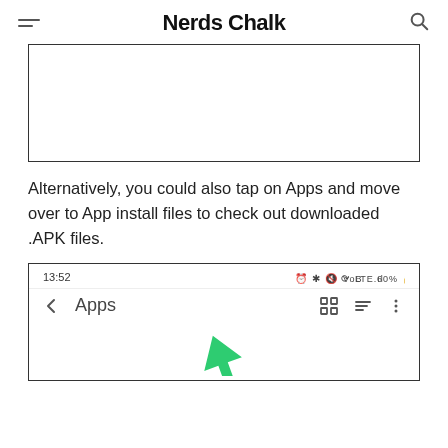Nerds Chalk
[Figure (screenshot): Top portion of a smartphone screenshot showing a white/empty area inside a bordered box]
Alternatively, you could also tap on Apps and move over to App install files to check out downloaded .APK files.
[Figure (screenshot): Smartphone screenshot showing 13:52 status bar and Apps navigation bar with back arrow, grid icon, sort icon, and menu icon]